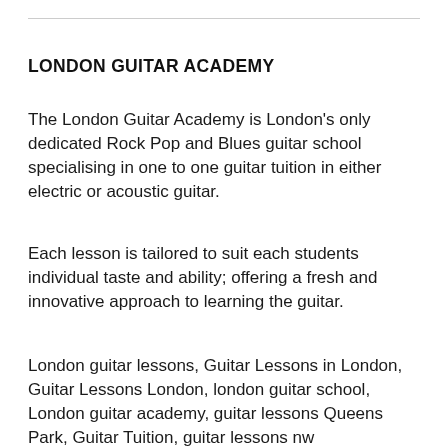LONDON GUITAR ACADEMY
The London Guitar Academy is London's only dedicated Rock Pop and Blues guitar school specialising in one to one guitar tuition in either electric or acoustic guitar.
Each lesson is tailored to suit each students individual taste and ability; offering a fresh and innovative approach to learning the guitar.
London guitar lessons, Guitar Lessons in London, Guitar Lessons London, london guitar school, London guitar academy, guitar lessons Queens Park, Guitar Tuition, guitar lessons nw